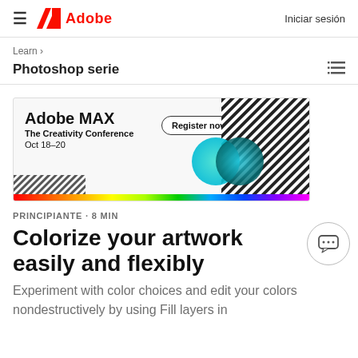Adobe — Iniciar sesión
Learn >
Photoshop serie
[Figure (screenshot): Adobe MAX The Creativity Conference. Register now. Oct 18–20. Banner with rainbow gradient bar at bottom, teal circles, and diagonal striped pattern on right side.]
PRINCIPIANTE · 8 MIN
Colorize your artwork easily and flexibly
Experiment with color choices and edit your colors nondestructively by using Fill layers in